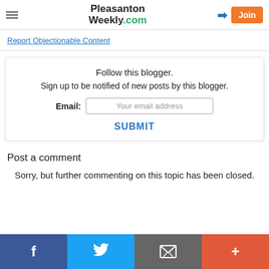Pleasanton Weekly.com
Report Objectionable Content
Follow this blogger.
Sign up to be notified of new posts by this blogger.
Email: [Your email address]
SUBMIT
Post a comment
Sorry, but further commenting on this topic has been closed.
Facebook  Twitter  Email  More